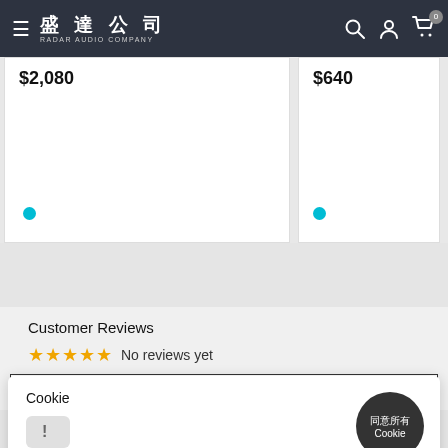盛達公司 RADAR AUDIO COMPANY
$2,080
$640
Customer Reviews
☆☆☆☆☆ No reviews yet
Write a review
Cookie
! 　　同意所有Cookie